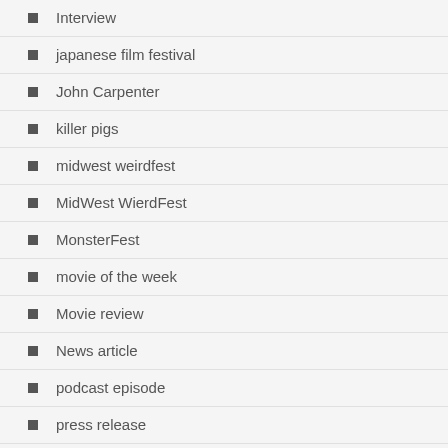Interview
japanese film festival
John Carpenter
killer pigs
midwest weirdfest
MidWest WierdFest
MonsterFest
movie of the week
Movie review
News article
podcast episode
press release
retrospective
Rialto Distribution
Ring Franchise